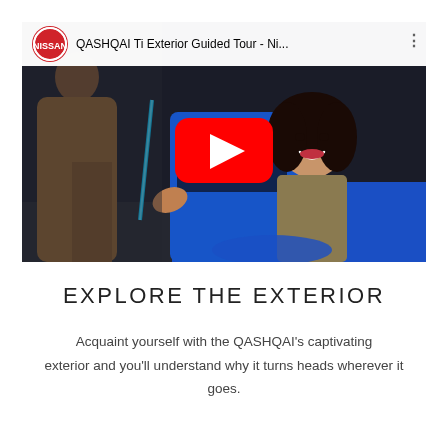[Figure (screenshot): YouTube video thumbnail for 'QASHQAI Ti Exterior Guided Tour - Ni...' showing a blue Nissan QASHQAI with a smiling woman inside, a person opening the door, and the YouTube play button overlay. Nissan logo and video title visible in top bar.]
EXPLORE THE EXTERIOR
Acquaint yourself with the QASHQAI's captivating exterior and you'll understand why it turns heads wherever it goes.